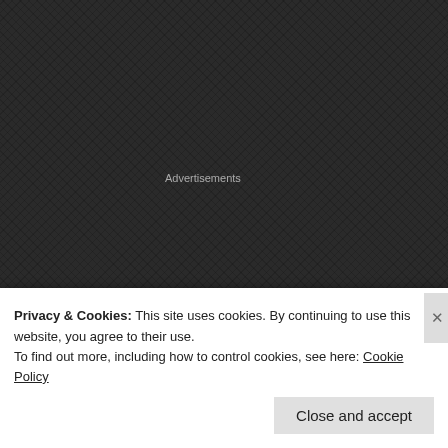[Figure (screenshot): Dark textured background with diagonal crosshatch pattern]
Advertisements
[Figure (logo): Jetpack advertisement banner on green background with circles and dots pattern, showing Jetpack logo with lightning bolt icon]
Robbed of our youth…
On that dark November night …
Alone on this sphere…
Will we ever find out…
Privacy & Cookies: This site uses cookies. By continuing to use this website, you agree to their use.
To find out more, including how to control cookies, see here: Cookie Policy
Close and accept